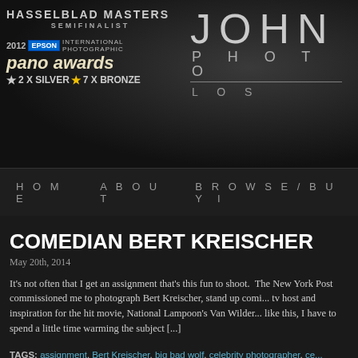[Figure (screenshot): Website header with dark background showing Hasselblad Masters Semifinalist badge on left, 2012 Epson International Photographic Pano Awards 2x Silver 7x Bronze on left, and JOHN PHOTO LOS on right in light thin lettering]
HOME   ABOUT   BROWSE/BUY I
COMEDIAN BERT KREISCHER
May 20th, 2014
It's not often that I get an assignment that's this fun to shoot.  The New York Post commissioned me to photograph Bert Kreischer, stand up comi... tv host and inspiration for the hit movie, National Lampoon's Van Wilder... like this, I have to spend a little time warming the subject [...]
TAGS: assignment, Bert Kreischer, big bad wolf, celebrity photographer, ce... portrait, comedian, duck sauce, Florida, fsu, funny, interview, John Chapp... Party: Stories of a Perpetual Man-Child, new york post, party animal, toga,